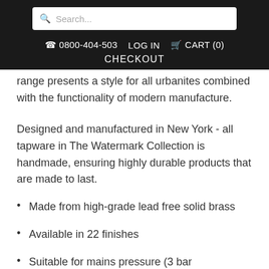Search... ☎ 0800-404-503 LOG IN CART (0) CHECKOUT
range presents a style for all urbanites combined with the functionality of modern manufacture.
Designed and manufactured in New York - all tapware in The Watermark Collection is handmade, ensuring highly durable products that are made to last.
Made from high-grade lead free solid brass
Available in 22 finishes
Suitable for mains pressure (3 bar